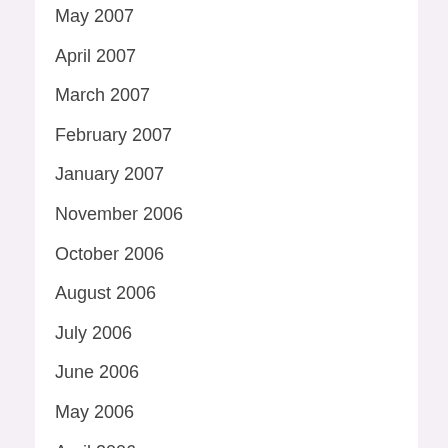May 2007
April 2007
March 2007
February 2007
January 2007
November 2006
October 2006
August 2006
July 2006
June 2006
May 2006
April 2006